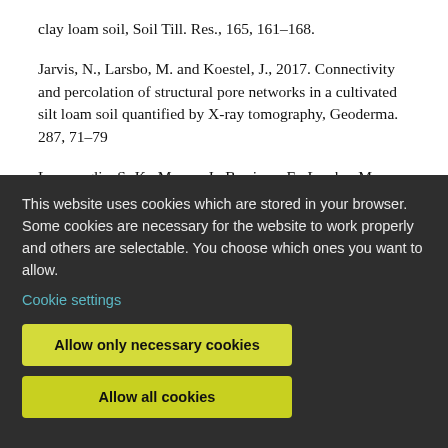clay loam soil, Soil Till. Res., 165, 161–168.
Jarvis, N., Larsbo, M. and Koestel, J., 2017. Connectivity and percolation of structural pore networks in a cultivated silt loam soil quantified by X-ray tomography, Geoderma. 287, 71–79
Lammoglia, S.-K., Moeys, J., Barriuso, E., Larsbo, M., Marín-Benito, J.-M., Justes, E., …
This website uses cookies which are stored in your browser. Some cookies are necessary for the website to work properly and others are selectable. You choose which ones you want to allow.
Cookie settings
Allow only necessary cookies
Allow all cookies